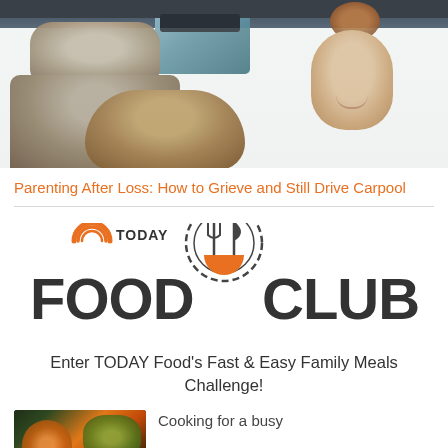[Figure (photo): Photo of children inside a car, one child with red hair in a bun turned smiling, another child with brown hair in foreground, car interior with seats and rear window visible]
Parenting After Loss: How to Grieve and Still Drive Carpool
[Figure (logo): TODAY Food Club logo with circular fork-and-knife icon in dark grey, orange rainbow arc below, text 'FOOD CLUB' in large bold serif-style font]
Enter TODAY Food's Fast & Easy Family Meals Challenge!
[Figure (photo): TODAY Food thumbnail image showing colorful food spread on dark background with TODAY Food logo overlay]
Cooking for a busy